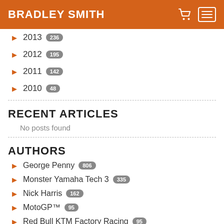BRADLEY SMITH
2013 236
2012 195
2011 142
2010 48
RECENT ARTICLES
No posts found
AUTHORS
George Penny 806
Monster Yamaha Tech 3 335
Nick Harris 162
MotoGP™ 95
Red Bull KTM Factory Racing 95
Tech3 Racing 72
Aprilia Racing Team Gresini 68